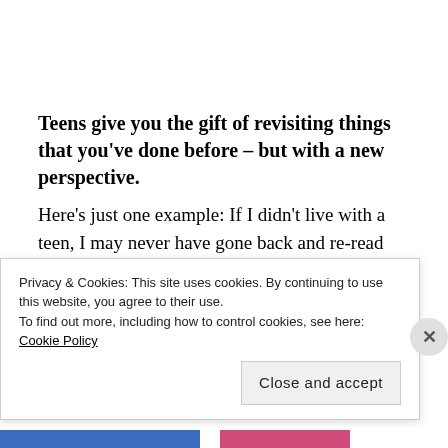Teens give you the gift of revisiting things that you've done before – but with a new perspective.
Here's just one example: If I didn't live with a teen, I may never have gone back and re-read books that I read in high school.  Classics – books like The Giver, Of Mice and Men, and To Kill A Mockingbird –
...where I fully recall the plot and the major characters
Privacy & Cookies: This site uses cookies. By continuing to use this website, you agree to their use.
To find out more, including how to control cookies, see here: Cookie Policy
Close and accept